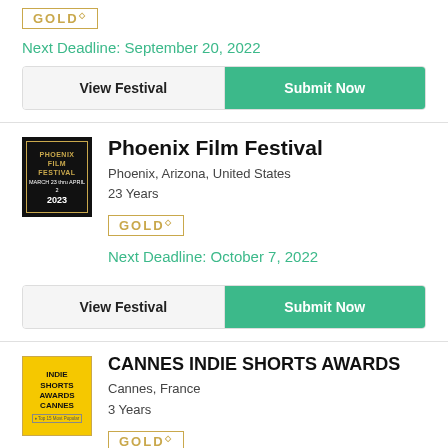GOLD
Next Deadline: September 20, 2022
View Festival
Submit Now
Phoenix Film Festival
Phoenix, Arizona, United States
23 Years
GOLD
Next Deadline: October 7, 2022
View Festival
Submit Now
[Figure (logo): Cannes Indie Shorts Awards logo - yellow square with black text: INDIE SHORTS AWARDS CANNES, Top 15 Most Popular badge]
CANNES INDIE SHORTS AWARDS
Cannes, France
3 Years
GOLD
Final Deadline: September 5, 2022